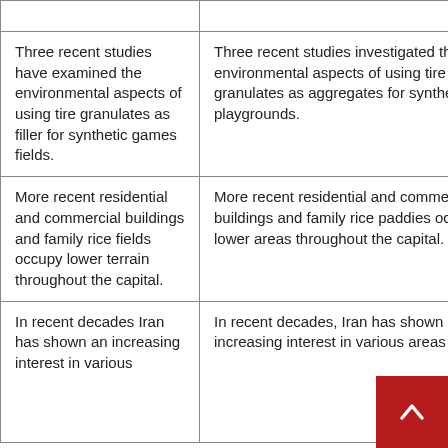|  |  |
| Three recent studies have examined the environmental aspects of using tire granulates as filler for synthetic games fields. | Three recent studies investigated the environmental aspects of using tire granulates as aggregates for synthetic playgrounds. |
| More recent residential and commercial buildings and family rice fields occupy lower terrain throughout the capital. | More recent residential and commercial buildings and family rice paddies occupy lower areas throughout the capital. |
| In recent decades Iran has shown an increasing interest in various | In recent decades, Iran has shown increasing interest in various areas |